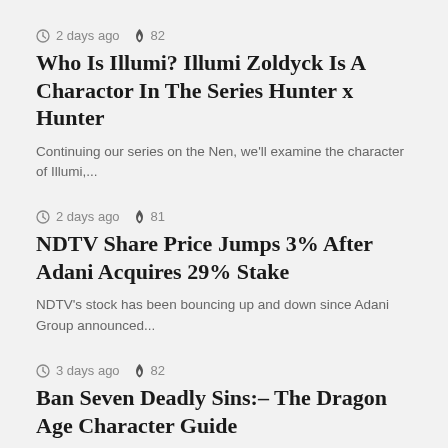2 days ago  82
Who Is Illumi? Illumi Zoldyck Is A Charactor In The Series Hunter x Hunter
Continuing our series on the Nen, we'll examine the character of Illumi,...
2 days ago  81
NDTV Share Price Jumps 3% After Adani Acquires 29% Stake
NDTV's stock has been bouncing up and down since Adani Group announced...
3 days ago  82
Ban Seven Deadly Sins:– The Dragon Age Character Guide
Ban is a member of the Seven Deadly Sins, and his greatest...